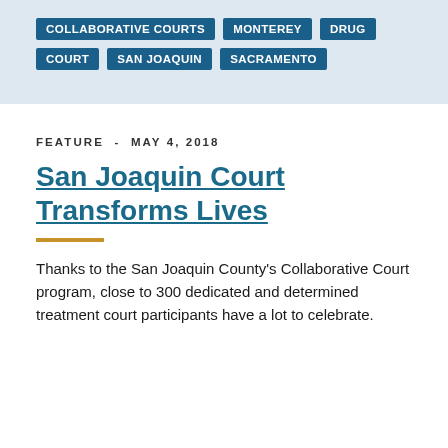COLLABORATIVE COURTS
MONTEREY
DRUG COURT
SAN JOAQUIN
SACRAMENTO
FEATURE - MAY 4, 2018
San Joaquin Court Transforms Lives
Thanks to the San Joaquin County's Collaborative Court program, close to 300 dedicated and determined treatment court participants have a lot to celebrate.